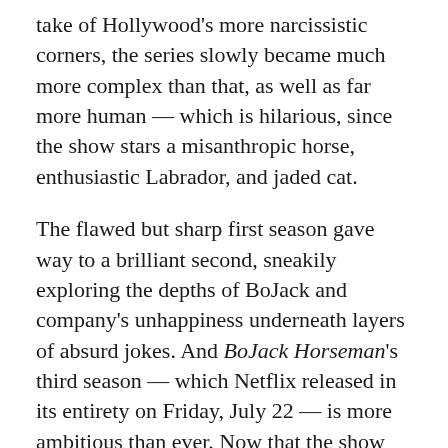take of Hollywood's more narcissistic corners, the series slowly became much more complex than that, as well as far more human — which is hilarious, since the show stars a misanthropic horse, enthusiastic Labrador, and jaded cat.
The flawed but sharp first season gave way to a brilliant second, sneakily exploring the depths of BoJack and company's unhappiness underneath layers of absurd jokes. And BoJack Horseman's third season — which Netflix released in its entirety on Friday, July 22 — is more ambitious than ever. Now that the show knows it doesn't need to win over its audience, season three dives right into the mess, to stunning and sometimes horrifying effect.
I recently had the chance to dissect that third season with series creator Raphael Bob-